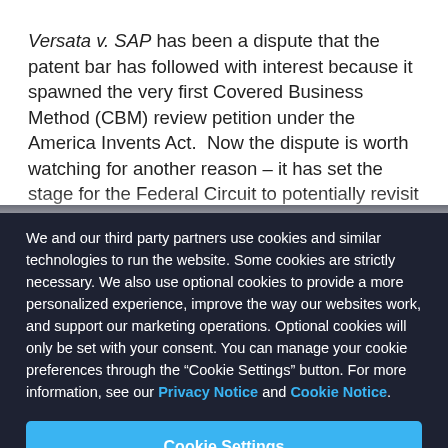Versata v. SAP has been a dispute that the patent bar has followed with interest because it spawned the very first Covered Business Method (CBM) review petition under the America Invents Act.  Now the dispute is worth watching for another reason – it has set the stage for the Federal Circuit to potentially revisit the concept of "finality" in patent litigation, articulated in its decision last year in Fresenius USA
We and our third party partners use cookies and similar technologies to run the website. Some cookies are strictly necessary. We also use optional cookies to provide a more personalized experience, improve the way our websites work, and support our marketing operations. Optional cookies will only be set with your consent. You can manage your cookie preferences through the “Cookie Settings” button. For more information, see our Privacy Notice and Cookie Notice.
Cookie Settings
Reject All